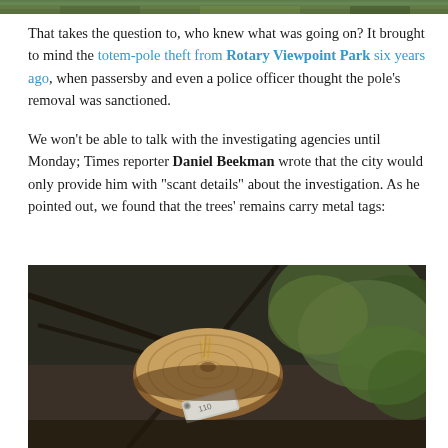[Figure (photo): Partial view of green foliage/trees at the top of the page, cropped strip]
That takes the question to, who knew what was going on? It brought to mind the totem-pole theft from Rotary Viewpoint Park six years ago, when passersby and even a police officer thought the pole's removal was sanctioned.
We won't be able to talk with the investigating agencies until Monday; Times reporter Daniel Beekman wrote that the city would only provide him with "scant details" about the investigation. As he pointed out, we found that the trees' remains carry metal tags:
[Figure (photo): Close-up photograph of a tree stump with a metal tag attached, surrounded by branches and green foliage in the background]